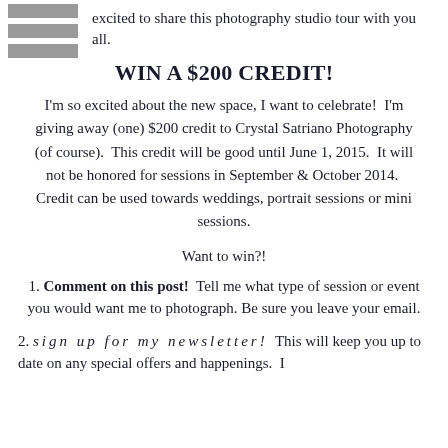excited to share this photography studio tour with you all.
WIN A $200 CREDIT!
I'm so excited about the new space, I want to celebrate!  I'm giving away (one) $200 credit to Crystal Satriano Photography (of course).  This credit will be good until June 1, 2015.  It will not be honored for sessions in September & October 2014.  Credit can be used towards weddings, portrait sessions or mini sessions.
Want to win?!
1. Comment on this post!  Tell me what type of session or event you would want me to photograph. Be sure you leave your email.
2. sign up for my newsletter!  This will keep you up to date on any special offers and happenings.  I